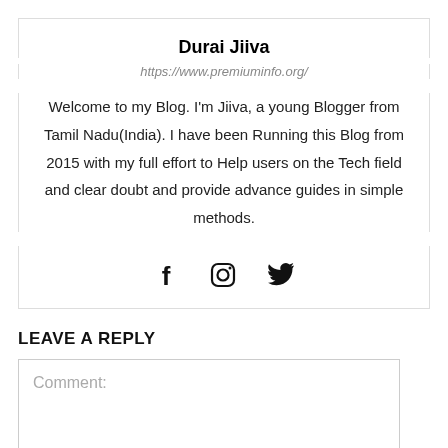Durai Jiiva
https://www.premiuminfo.org/
Welcome to my Blog. I'm Jiiva, a young Blogger from Tamil Nadu(India). I have been Running this Blog from 2015 with my full effort to Help users on the Tech field and clear doubt and provide advance guides in simple methods.
[Figure (illustration): Social media icons: Facebook (f), Instagram (circle with lens), Twitter (bird)]
LEAVE A REPLY
Comment: